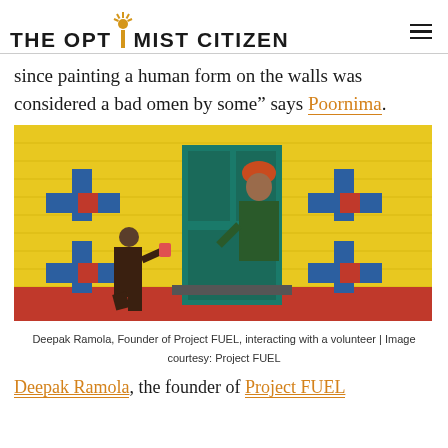THE OPTIMIST CITIZEN
since painting a human form on the walls was considered a bad omen by some” says Poornima.
[Figure (photo): Deepak Ramola kneeling and painting a yellow brick wall with blue and red cross patterns, while a man in a turban leans out of a teal-colored doorway to watch. The building is painted bright yellow with decorative geometric motifs.]
Deepak Ramola, Founder of Project FUEL, interacting with a volunteer | Image courtesy: Project FUEL
Deepak Ramola, the founder of Project FUEL